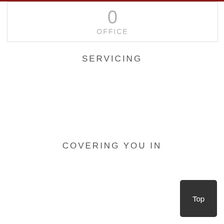0
OFFICE
SERVICING
COVERING YOU IN
Top